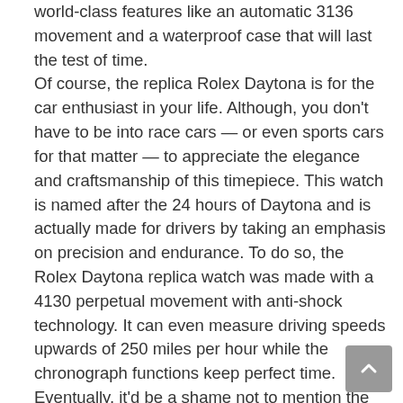world-class features like an automatic 3136 movement and a waterproof case that will last the test of time. Of course, the replica Rolex Daytona is for the car enthusiast in your life. Although, you don't have to be into race cars — or even sports cars for that matter — to appreciate the elegance and craftsmanship of this timepiece. This watch is named after the 24 hours of Daytona and is actually made for drivers by taking an emphasis on precision and endurance. To do so, the Rolex Daytona replica watch was made with a 4130 perpetual movement with anti-shock technology. It can even measure driving speeds upwards of 250 miles per hour while the chronograph functions keep perfect time. Eventually, it'd be a shame not to mention the bright white face of this watch with glowing hour markers — it absolutely pops against the